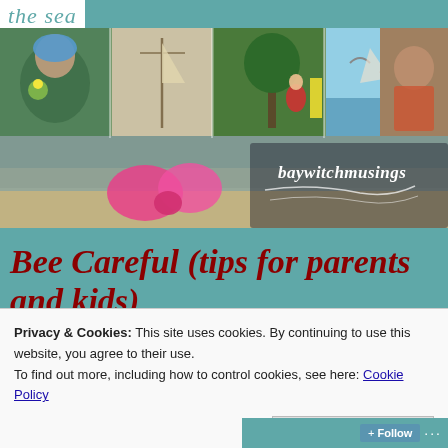the sea
[Figure (photo): baywitchmusings blog banner image: collage of 4 photos showing a child with flowers, nautical items, a child in red coat near tree, seabirds, and a child eating; with 'baywitchmusings' text overlay on lower portion with pink ribbon on sandy beach background]
Bee Careful (tips for parents and kids)
Privacy & Cookies: This site uses cookies. By continuing to use this website, you agree to their use.
To find out more, including how to control cookies, see here: Cookie Policy
Close and accept